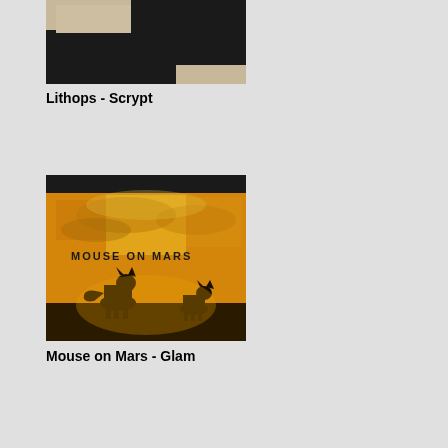[Figure (illustration): Album cover for Lithops - Scrypt: abstract black ink brush strokes on a tan/beige background]
Lithops - Scrypt
[Figure (photo): Album cover for Mouse on Mars - Glam: two fox or jackal silhouettes against a golden yellow sunset sky with clouds, with 'MOUSE ON MARS' text in the upper left area]
Mouse on Mars - Glam